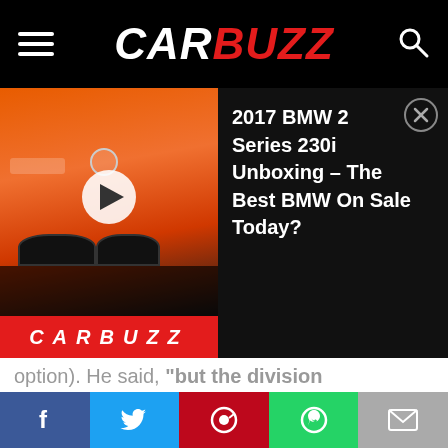CARBUZZ
[Figure (screenshot): Video thumbnail showing a red/orange BMW 2 Series coupe with a play button, and a red CARBUZZ bar at bottom. Beside it: title '2017 BMW 2 Series 230i Unboxing – The Best BMW On Sale Today?' on black background with close button.]
option). He said, "but the division [there] is no plan, because Evolution is completely different from sporty - it's sports, not just sporty." It's a stark contrast to Toyota and Honda, which are trying to reinvigorate their brands with new sports cars. And if you are praying that we will see a
[Figure (screenshot): Advertisement for New 2022 Mercedes-Benz GLC showing a white SUV, dealership info, and a right-arrow button.]
Social share bar: Facebook, Twitter, Pinterest, WhatsApp, Email